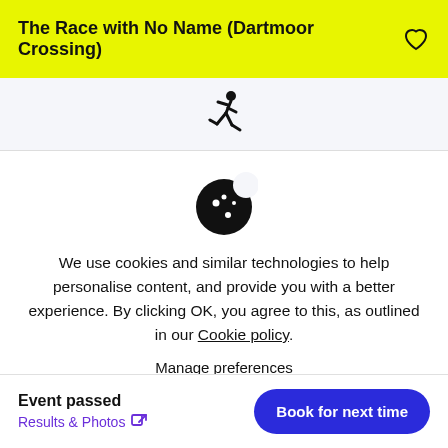The Race with No Name (Dartmoor Crossing)
[Figure (illustration): Running person icon (stick figure in running pose)]
[Figure (illustration): Cookie icon (circle with dots representing a cookie/biscuit)]
We use cookies and similar technologies to help personalise content, and provide you with a better experience. By clicking OK, you agree to this, as outlined in our Cookie policy.
Manage preferences
Accept all
Event passed
Results & Photos
Book for next time